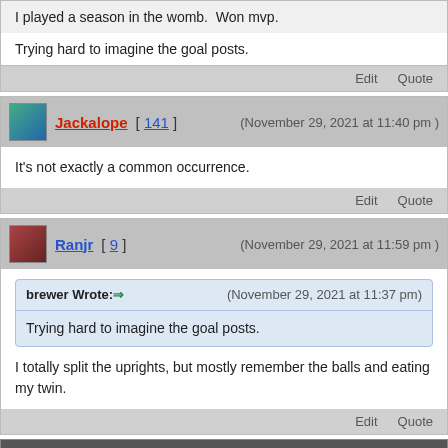I played a season in the womb.  Won mvp.
Trying hard to imagine the goal posts.
Edit   Quote
Jackalope [ 141 ]   (November 29, 2021 at 11:40 pm )
It's not exactly a common occurrence.
Edit   Quote
Ranjr [ 9 ]   (November 29, 2021 at 11:59 pm )
brewer Wrote: => (November 29, 2021 at 11:37 pm) Trying hard to imagine the goal posts.
I totally split the uprights, but mostly remember the balls and eating my twin.
Edit   Quote
« Next Oldest | Next Newest »